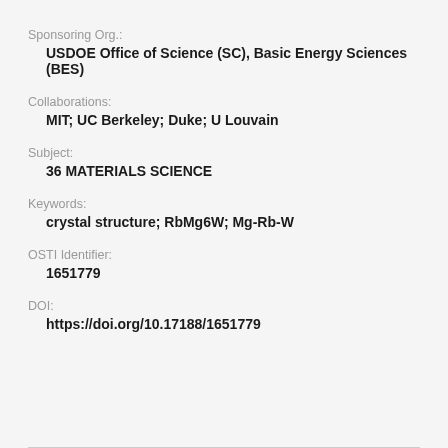Sponsoring Org.:
USDOE Office of Science (SC), Basic Energy Sciences (BES)
Collaborations:
MIT; UC Berkeley; Duke; U Louvain
Subject:
36 MATERIALS SCIENCE
Keywords:
crystal structure; RbMg6W; Mg-Rb-W
OSTI Identifier:
1651779
DOI:
https://doi.org/10.17188/1651779